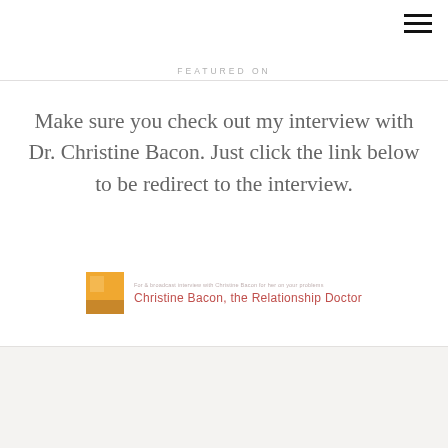FEATURED ON
Make sure you check out my interview with Dr. Christine Bacon. Just click the link below to be redirect to the interview.
[Figure (logo): Christine Bacon the Relationship Doctor logo with orange square icon on left and text on right reading 'Christine Bacon, the Relationship Doctor']